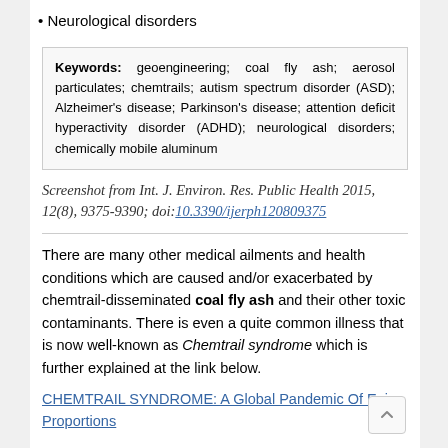Neurological disorders
Keywords: geoengineering; coal fly ash; aerosol particulates; chemtrails; autism spectrum disorder (ASD); Alzheimer's disease; Parkinson's disease; attention deficit hyperactivity disorder (ADHD); neurological disorders; chemically mobile aluminum
Screenshot from Int. J. Environ. Res. Public Health 2015, 12(8), 9375-9390; doi:10.3390/ijerph120809375
There are many other medical ailments and health conditions which are caused and/or exacerbated by chemtrail-disseminated coal fly ash and their other toxic contaminants. There is even a quite common illness that is now well-known as Chemtrail syndrome which is further explained at the link below.
CHEMTRAIL SYNDROME: A Global Pandemic Of Epic Proportions